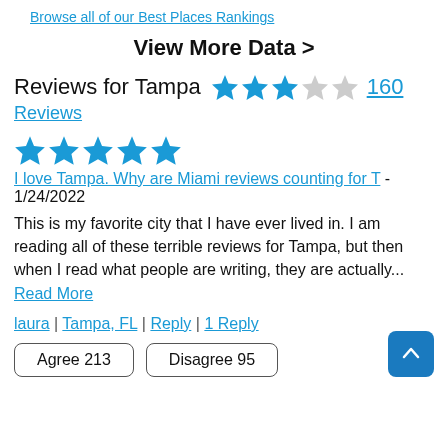Browse all of our Best Places Rankings
View More Data >
Reviews for Tampa  ★★★☆☆  160 Reviews
[Figure (other): Five blue filled stars (5-star rating for a specific review)]
I love Tampa. Why are Miami reviews counting for T - 1/24/2022
This is my favorite city that I have ever lived in. I am reading all of these terrible reviews for Tampa, but then when I read what people are writing, they are actually... Read More
laura | Tampa, FL | Reply | 1 Reply
Agree 213   Disagree 95